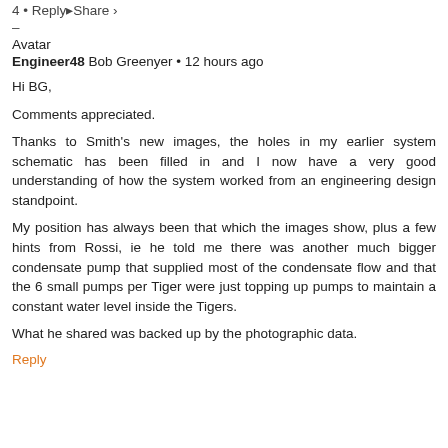4 • Reply▸Share ›
–
Avatar
Engineer48 Bob Greenyer • 12 hours ago
Hi BG,
Comments appreciated.
Thanks to Smith's new images, the holes in my earlier system schematic has been filled in and I now have a very good understanding of how the system worked from an engineering design standpoint.
My position has always been that which the images show, plus a few hints from Rossi, ie he told me there was another much bigger condensate pump that supplied most of the condensate flow and that the 6 small pumps per Tiger were just topping up pumps to maintain a constant water level inside the Tigers.
What he shared was backed up by the photographic data.
Reply